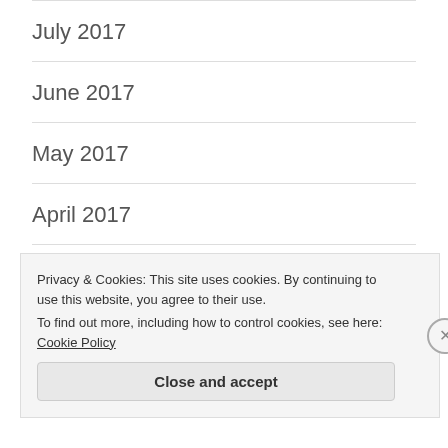July 2017
June 2017
May 2017
April 2017
March 2017
February 2017
Privacy & Cookies: This site uses cookies. By continuing to use this website, you agree to their use.
To find out more, including how to control cookies, see here: Cookie Policy
Close and accept